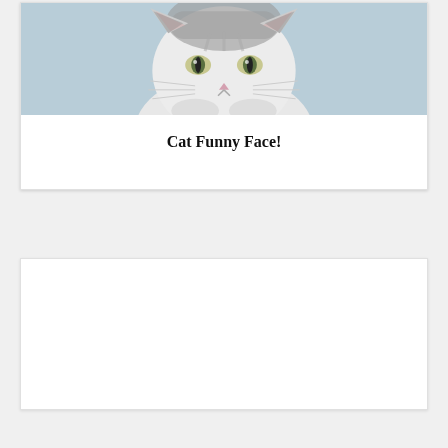[Figure (photo): A white and gray tabby cat photographed from the front against a light blue background, showing the cat's face with green eyes looking directly at the camera]
Cat Funny Face!